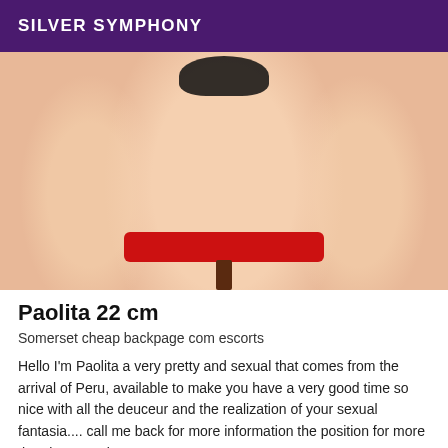SILVER SYMPHONY
[Figure (photo): Adult escort listing photo showing a person posed on a red stool, shot from behind, wearing black underwear.]
Paolita 22 cm
Somerset cheap backpage com escorts
Hello I'm Paolita a very pretty and sexual that comes from the arrival of Peru, available to make you have a very good time so nice with all the deuceur and the realization of your sexual fantasia.... call me back for more information the position for more the pleasure tti